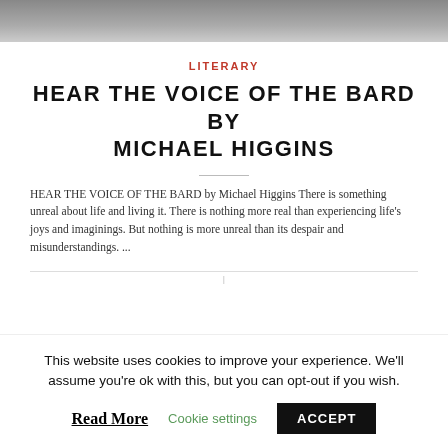[Figure (photo): Grayscale photograph or image at the top of the page, serving as a header image for the article.]
LITERARY
HEAR THE VOICE OF THE BARD BY MICHAEL HIGGINS
HEAR THE VOICE OF THE BARD by Michael Higgins There is something unreal about life and living it. There is nothing more real than experiencing life’s joys and imaginings. But nothing is more unreal than its despair and misunderstandings. ...
This website uses cookies to improve your experience. We’ll assume you’re ok with this, but you can opt-out if you wish.
Read More   Cookie settings   ACCEPT